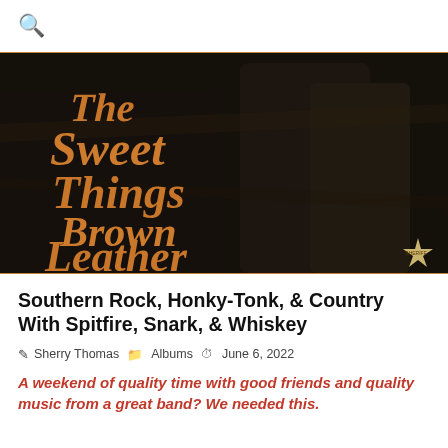🔍
[Figure (photo): Album cover for 'The Sweet Things Brown Leather' — dark background with two people partially visible, large ornate orange/gold serif text reading 'The Sweet Things Brown Leather', small star badge logo in bottom right corner.]
Southern Rock, Honky-Tonk, & Country With Spitfire, Snark, & Whiskey
Sherry Thomas   Albums   June 6, 2022
A weekend of quality time with good friends and quality music from a great band? We needed this.